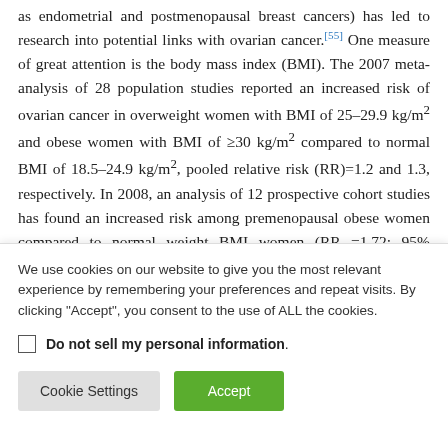as endometrial and postmenopausal breast cancers) has led to research into potential links with ovarian cancer.[55] One measure of great attention is the body mass index (BMI). The 2007 meta- analysis of 28 population studies reported an increased risk of ovarian cancer in overweight women with BMI of 25–29.9 kg/m2 and obese women with BMI of ≥30 kg/m2 compared to normal BMI of 18.5–24.9 kg/m2, pooled relative risk (RR)=1.2 and 1.3, respectively. In 2008, an analysis of 12 prospective cohort studies has found an increased risk among premenopausal obese women compared to normal weight BMI women (RR =1.72; 95% confidence
We use cookies on our website to give you the most relevant experience by remembering your preferences and repeat visits. By clicking "Accept", you consent to the use of ALL the cookies.
Do not sell my personal information.
Cookie Settings | Accept